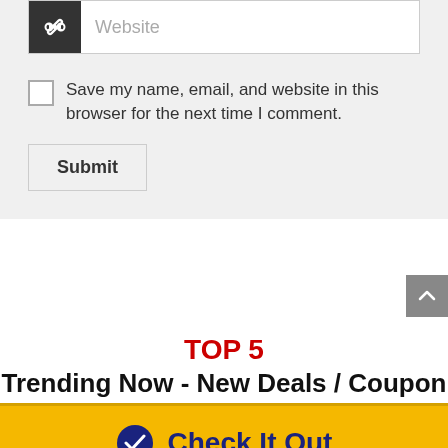[Figure (screenshot): Website URL input field with dark icon on left and 'Website' placeholder text]
Save my name, email, and website in this browser for the next time I comment.
Submit
TOP 5
Trending Now - New Deals / Coupon
Check It Out